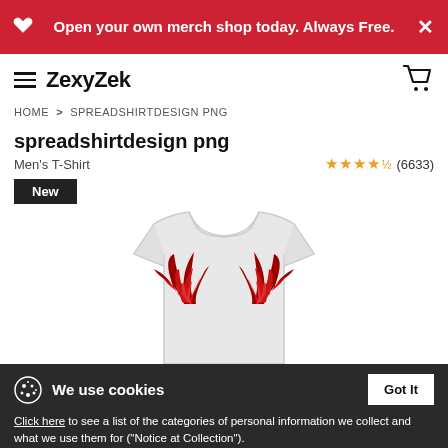Open your own merch shop today. Always Free.
ZexyZek
HOME > SPREADSHIRTDESIGN PNG
spreadshirtdesign png
Men's T-Shirt
(6633)
New
[Figure (photo): White men's T-shirt with red wing/flame design on the chest area]
We use cookies
Click here to see a list of the categories of personal information we collect and what we use them for ("Notice at Collection").
Privacy Policy
Do Not Sell My Personal Information
By using this website, I agree to the Terms and Conditions